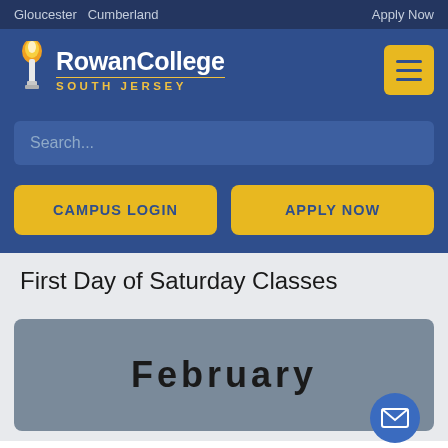Gloucester  Cumberland   Apply Now
[Figure (logo): Rowan College South Jersey logo with torch icon]
Search...
CAMPUS LOGIN
APPLY NOW
First Day of Saturday Classes
February